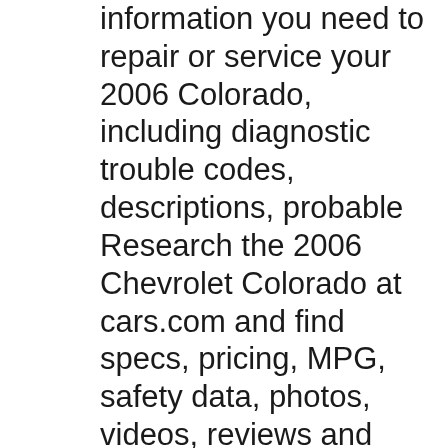information you need to repair or service your 2006 Colorado, including diagnostic trouble codes, descriptions, probable Research the 2006 Chevrolet Colorado at cars.com and find specs, pricing, MPG, safety data, photos, videos, reviews and local inventory. Either engine can drive a five-speed-manual gearbox or
Where is the camshaft position sensor on 2006 chevy colorado? Evidently there are two of them. Your trouble code might tell us which one? 2006 Chevrolet 2006 colorado Don't waste your money on unnecessary sources and unwanted repairs. Get this manual online under $10-15 and get complete guide on